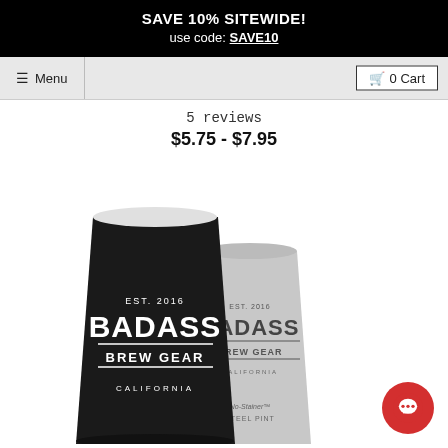SAVE 10% SITEWIDE! use code: SAVE10
☰ Menu   🛒 0 Cart
5 reviews
$5.75 - $7.95
[Figure (photo): Two branded 'BADASS BREW GEAR' cups — one black and one white/silver, both showing 'EST. 2016', 'BREW GEAR', 'CALIFORNIA'. The silver cup has 'STEEL PINT' branding visible.]